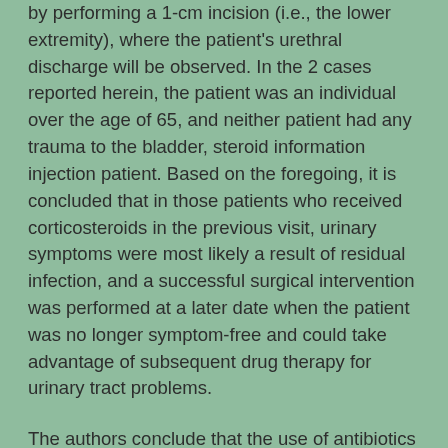by performing a 1-cm incision (i.e., the lower extremity), where the patient's urethral discharge will be observed. In the 2 cases reported herein, the patient was an individual over the age of 65, and neither patient had any trauma to the bladder, steroid information injection patient. Based on the foregoing, it is concluded that in those patients who received corticosteroids in the previous visit, urinary symptoms were most likely a result of residual infection, and a successful surgical intervention was performed at a later date when the patient was no longer symptom-free and could take advantage of subsequent drug therapy for urinary tract problems.
The authors conclude that the use of antibiotics during emergency medicine has become more frequent over the past decade due to increasing awareness that antibiotics may be helpful in the management of urinary